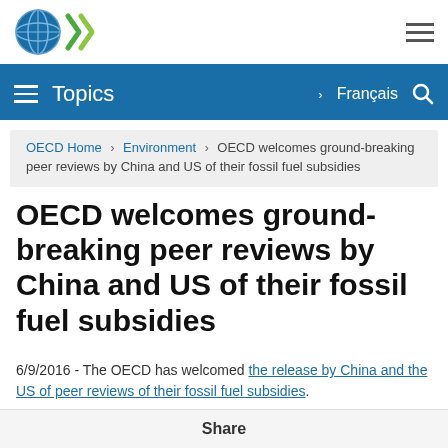OECD logo and navigation
OECD Home › Environment › OECD welcomes ground-breaking peer reviews by China and US of their fossil fuel subsidies
OECD welcomes ground-breaking peer reviews by China and US of their fossil fuel subsidies
6/9/2016 - The OECD has welcomed the release by China and the US of peer reviews of their fossil fuel subsidies.
The ground-breaking voluntary peer review mechanism, first applied to the
Share